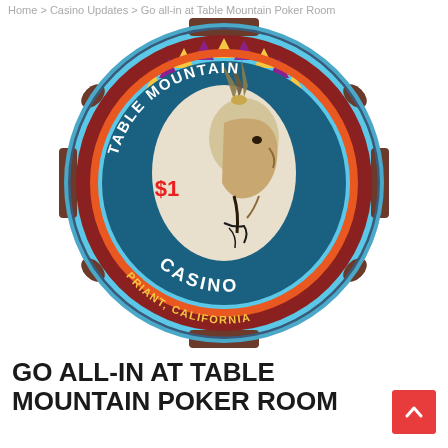Home > Casino Updates > Go all-in at Table Mountain Poker Room
[Figure (photo): A blue $1 Table Mountain Casino poker chip with a Native American chief profile in the center, text reading TABLE MOUNTAIN CASINO PRIANT, CALIFORNIA around the edge, with a colorful triangular pattern border.]
GO ALL-IN AT TABLE MOUNTAIN POKER ROOM